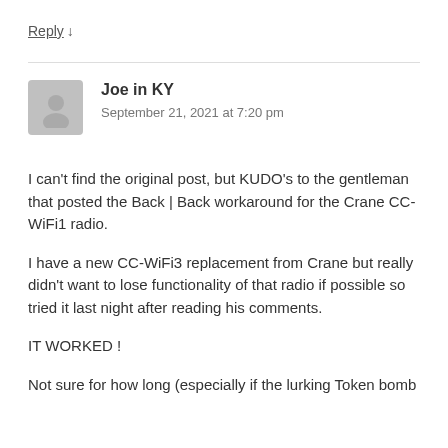Reply ↓
Joe in KY
September 21, 2021 at 7:20 pm
I can't find the original post, but KUDO's to the gentleman that posted the Back | Back workaround for the Crane CC-WiFi1 radio.
I have a new CC-WiFi3 replacement from Crane but really didn't want to lose functionality of that radio if possible so tried it last night after reading his comments.
IT WORKED !
Not sure for how long (especially if the lurking Token bomb